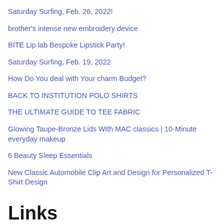Saturday Surfing, Feb. 26, 2022!
brother's intense new embroidery device
BITE Lip lab Bespoke Lipstick Party!
Saturday Surfing, Feb. 19, 2022
How Do You deal with Your charm Budget?
BACK TO INSTITUTION POLO SHIRTS
THE ULTIMATE GUIDE TO TEE FABRIC
Glowing Taupe-Bronze Lids With MAC classics | 10-Minute everyday makeup
6 Beauty Sleep Essentials
New Classic Automobile Clip Art and Design for Personalized T-Shirt Design
Links